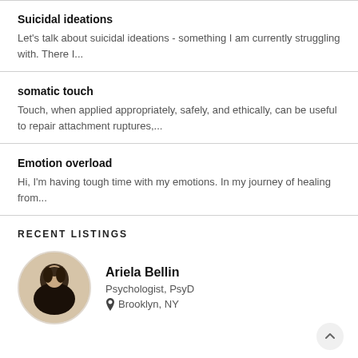Suicidal ideations
Let's talk about suicidal ideations - something I am currently struggling with. There I...
somatic touch
Touch, when applied appropriately, safely, and ethically, can be useful to repair attachment ruptures,...
Emotion overload
Hi, I'm having tough time with my emotions. In my journey of healing from...
RECENT LISTINGS
[Figure (photo): Circular profile photo of Ariela Bellin, a woman with dark hair]
Ariela Bellin
Psychologist, PsyD
Brooklyn, NY